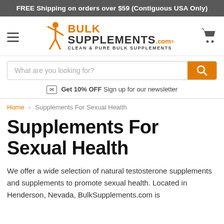FREE Shipping on orders over $59 (Contiguous USA Only)
[Figure (logo): BulkSupplements.com logo with orange figure and text: BULK SUPPLEMENTS.com CLEAN & PURE BULK SUPPLEMENTS]
What are you looking for?
Get 10% OFF Sign up for our newsletter
Home > Supplements For Sexual Health
Supplements For Sexual Health
We offer a wide selection of natural testosterone supplements and supplements to promote sexual health. Located in Henderson, Nevada, BulkSupplements.com is